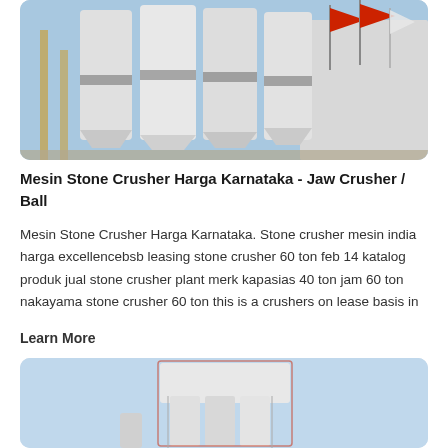[Figure (photo): Industrial stone crusher facility with large white cylindrical silos and scaffolding, red flags visible on poles against a blue sky background]
Mesin Stone Crusher Harga Karnataka - Jaw Crusher / Ball
Mesin Stone Crusher Harga Karnataka. Stone crusher mesin india harga excellencebsb leasing stone crusher 60 ton feb 14 katalog produk jual stone crusher plant merk kapasias 40 ton jam 60 ton nakayama stone crusher 60 ton this is a crushers on lease basis in
Learn More
[Figure (photo): Industrial facility with tall white cylindrical silos and a large rectangular structure on top, blue sky background]